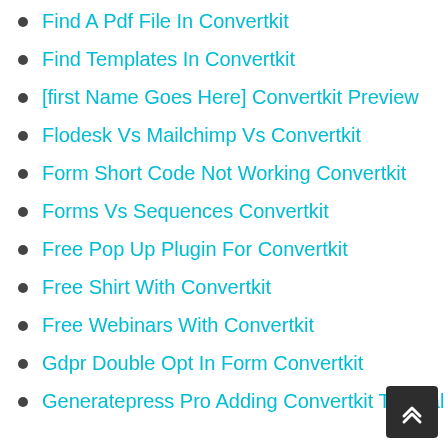Find A Pdf File In Convertkit
Find Templates In Convertkit
[first Name Goes Here] Convertkit Preview
Flodesk Vs Mailchimp Vs Convertkit
Form Short Code Not Working Convertkit
Forms Vs Sequences Convertkit
Free Pop Up Plugin For Convertkit
Free Shirt With Convertkit
Free Webinars With Convertkit
Gdpr Double Opt In Form Convertkit
Generatepress Pro Adding Convertkit Tutorial